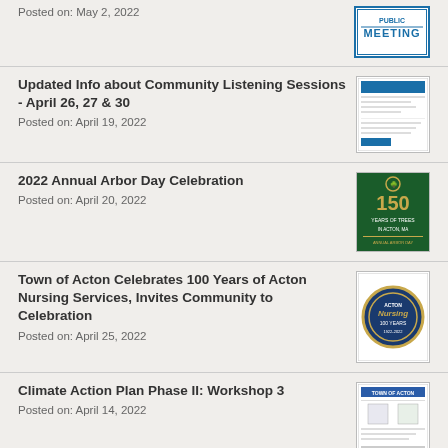Posted on: May 2, 2022
[Figure (other): Meeting notice thumbnail image with blue border and bold MEETING text]
Updated Info about Community Listening Sessions - April 26, 27 & 30
Posted on: April 19, 2022
[Figure (other): Community listening sessions document thumbnail]
2022 Annual Arbor Day Celebration
Posted on: April 20, 2022
[Figure (other): Green Arbor Day 150th anniversary celebration poster thumbnail]
Town of Acton Celebrates 100 Years of Acton Nursing Services, Invites Community to Celebration
Posted on: April 25, 2022
[Figure (other): Acton Nursing Services 100 Years anniversary seal/badge thumbnail]
Climate Action Plan Phase II: Workshop 3
Posted on: April 14, 2022
[Figure (other): Climate Action Plan workshop document thumbnail]
Municipal Monthly - April 2022